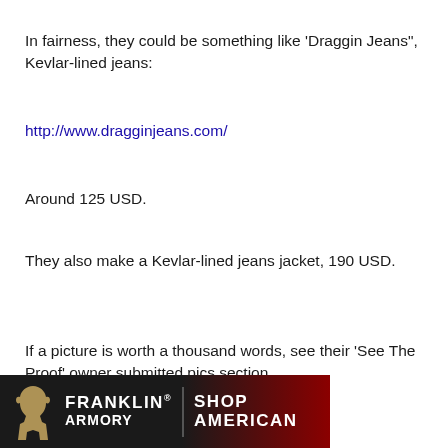In fairness, they could be something like 'Draggin Jeans", Kevlar-lined jeans:
http://www.dragginjeans.com/
Around 125 USD.
They also make a Kevlar-lined jeans jacket, 190 USD.
If a picture is worth a thousand words, see their 'See The Proof' owner submitted pics section.
http://www.dragginjeans.com/testimonials
Reply
[Figure (illustration): Franklin Armory advertisement banner with logo silhouette, brand name, and 'Shop American' text on dark background with American flag motif]